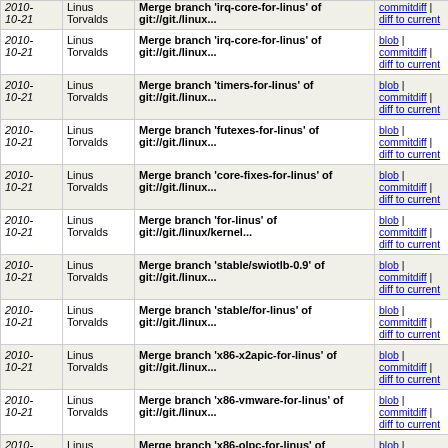| Date | Author | Message | Links |
| --- | --- | --- | --- |
| 2010-10-21 | Linus Torvalds | Merge branch 'irq-core-for-linus' of git://git./linux... | blob | commitdiff | diff to current |
| 2010-10-21 | Linus Torvalds | Merge branch 'timers-for-linus' of git://git./linux... | blob | commitdiff | diff to current |
| 2010-10-21 | Linus Torvalds | Merge branch 'futexes-for-linus' of git://git./linux... | blob | commitdiff | diff to current |
| 2010-10-21 | Linus Torvalds | Merge branch 'core-fixes-for-linus' of git://git./linux... | blob | commitdiff | diff to current |
| 2010-10-21 | Linus Torvalds | Merge branch 'for-linus' of git://git./linux/kernel... | blob | commitdiff | diff to current |
| 2010-10-21 | Linus Torvalds | Merge branch 'stable/swiotlb-0.9' of git://git./linux... | blob | commitdiff | diff to current |
| 2010-10-21 | Linus Torvalds | Merge branch 'stable/for-linus' of git://git./linux... | blob | commitdiff | diff to current |
| 2010-10-21 | Linus Torvalds | Merge branch 'x86-x2apic-for-linus' of git://git./linux... | blob | commitdiff | diff to current |
| 2010-10-21 | Linus Torvalds | Merge branch 'x86-vmware-for-linus' of git://git./linux... | blob | commitdiff | diff to current |
| 2010-10-21 | Linus Torvalds | Merge branch 'x86-olpc-for-linus' of git://git./linux... | blob | commitdiff | diff to current |